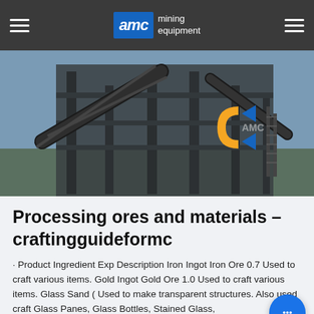AMC mining equipment
[Figure (photo): Mining equipment facility showing metal conveyor structures, steel scaffolding and support columns, with AMC logo visible on orange and blue signage in the background]
Processing ores and materials – craftingguideformc
· Product Ingredient Exp Description Iron Ingot Iron Ore 0.7 Used to craft various items. Gold Ingot Gold Ore 1.0 Used to craft various items. Glass Sand ( Used to make transparent structures. Also used craft Glass Panes, Glass Bottles, Stained Glass,